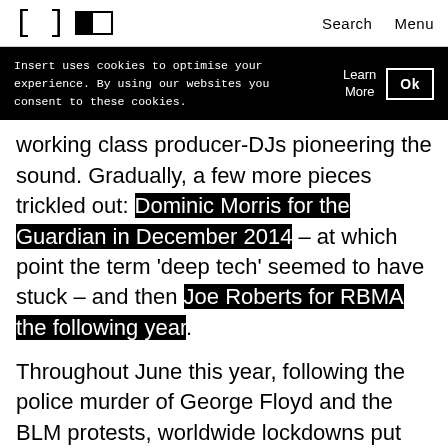[ ]  [toggle]  Search  Menu
Insert uses cookies to optimise your experience. By using our websites you consent to these cookies.  Learn More  Ok
working class producer-DJs pioneering the sound. Gradually, a few more pieces trickled out: Dominic Morris for the Guardian in December 2014 – at which point the term 'deep tech' seemed to have stuck – and then Joe Roberts for RBMA the following year.
Throughout June this year, following the police murder of George Floyd and the BLM protests, worldwide lockdowns put sustained focus on the longstanding racist inequalities that are being reinforced and exacerbated by the Covid-19 pandemic. Mainstream institutions and had...